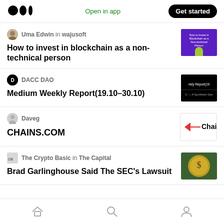Medium logo | Open in app | Get started
How to invest in blockchain as a non-technical person
Medium Weekly Report(19.10–30.10)
CHAINS.COM
Brad Garlinghouse Said The SEC's Lawsuit
Home | Search | Profile